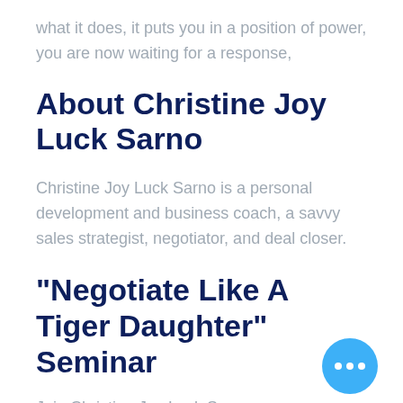what it does, it puts you in a position of power, you are now waiting for a response,
About Christine Joy Luck Sarno
Christine Joy Luck Sarno is a personal development and business coach, a savvy sales strategist, negotiator, and deal closer.
“Negotiate Like A Tiger Daughter” Seminar
Join Christine Joy Luck Sarno on